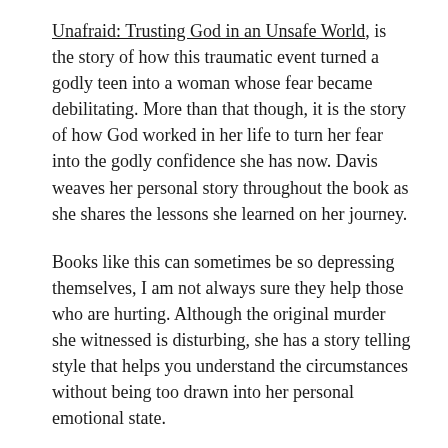Unafraid: Trusting God in an Unsafe World, is the story of how this traumatic event turned a godly teen into a woman whose fear became debilitating. More than that though, it is the story of how God worked in her life to turn her fear into the godly confidence she has now. Davis weaves her personal story throughout the book as she shares the lessons she learned on her journey.
Books like this can sometimes be so depressing themselves, I am not always sure they help those who are hurting. Although the original murder she witnessed is disturbing, she has a story telling style that helps you understand the circumstances without being too drawn into her personal emotional state.
I am not a therapist and I would imagine some